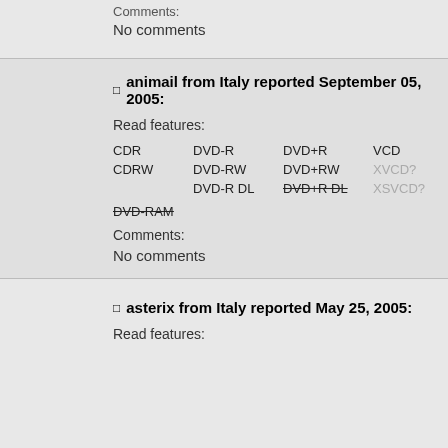Comments:
No comments
animail from Italy reported September 05, 2005:
Read features:
CDR DVD-R DVD+R VCD SVCD MP3 CDRW DVD-RW DVD+RW XVCD? SVCDSubs? DVD-R DL DVD+R DL XSVCD? SVCDTracks? CVD? DVD-RAM
Comments:
No comments
asterix from Italy reported May 25, 2005:
Read features: